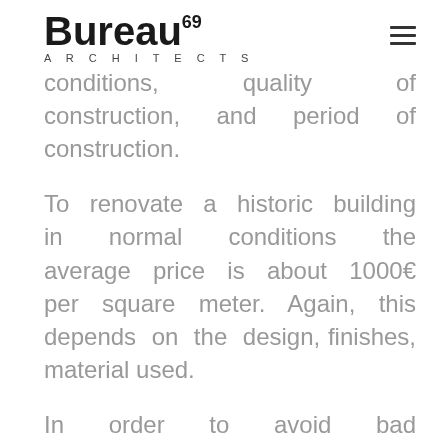Bureau69 ARCHITECTS
conditions, quality of construction, and period of construction.
To renovate a historic building in normal conditions the average price is about 1000€ per square meter. Again, this depends on the design, finishes, material used.
In order to avoid bad experiences, it is always advisable to invest in hiring a local consultant who can support throughout the entire process of research, checking